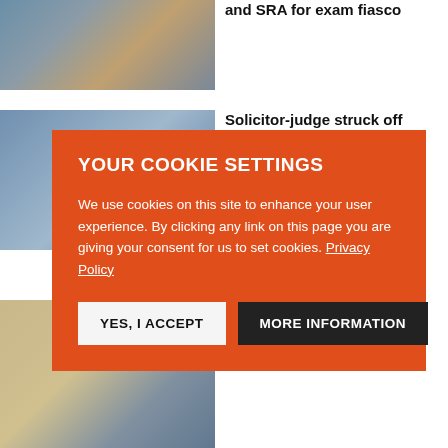[Figure (photo): People holding computer monitors with blue screens of death]
and SRA for exam fiasco
[Figure (photo): People in a meeting or legal setting]
Solicitor-judge struck off
[Figure (infographic): Cookie consent modal overlay with orange background]
er
[Figure (photo): Collage of images including SRA Practice related photos]